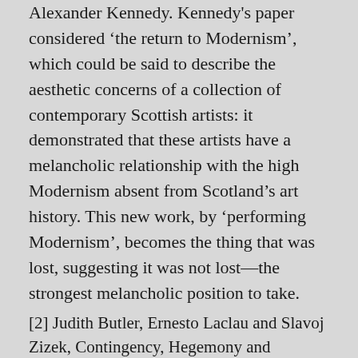Alexander Kennedy. Kennedy's paper considered 'the return to Modernism', which could be said to describe the aesthetic concerns of a collection of contemporary Scottish artists: it demonstrated that these artists have a melancholic relationship with the high Modernism absent from Scotland's art history. This new work, by 'performing Modernism', becomes the thing that was lost, suggesting it was not lost—the strongest melancholic position to take.
[2] Judith Butler, Ernesto Laclau and Slavoj Zizek, Contingency, Hegemony and Universality: Contemporary Dialogues on the Left, Verso, London and New York, 2000, p 32
[3] Sigmund Freud, On Metapsychology: The Theory of Psychoanalysis, translated and edited